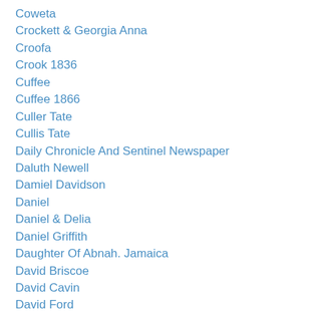Coweta
Crockett & Georgia Anna
Croofa
Crook 1836
Cuffee
Cuffee 1866
Culler Tate
Cullis Tate
Daily Chronicle And Sentinel Newspaper
Daluth Newell
Damiel Davidson
Daniel
Daniel & Delia
Daniel Griffith
Daughter Of Abnah. Jamaica
David Briscoe
David Cavin
David Ford
David Maul
David McDonogh